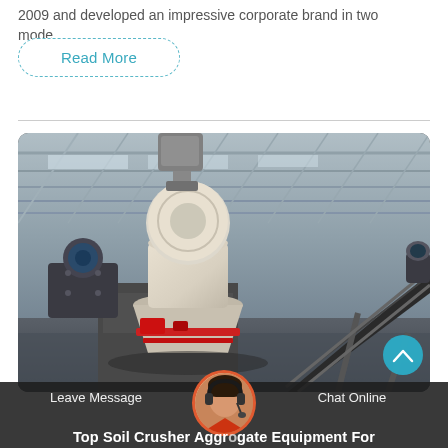2009 and developed an impressive corporate brand in two mode…
Read More
[Figure (photo): Industrial cone crusher machine inside a large factory warehouse with conveyor belt and steel framework structure]
Leave Message
Chat Online
Top Soil Crusher Aggregate Equipment For